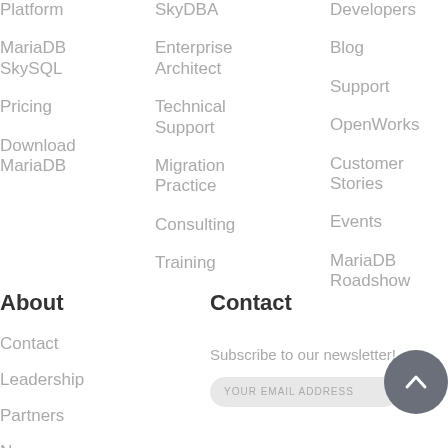Platform
MariaDB SkySQL
Pricing
Download MariaDB
SkyDBA
Enterprise Architect
Technical Support
Migration Practice
Consulting
Training
Developers
Blog
Support
OpenWorks
Customer Stories
Events
MariaDB Roadshow
About
Contact
Contact
Leadership
Partners
Newsroom
Subscribe to our newsletter!
YOUR EMAIL ADDRESS